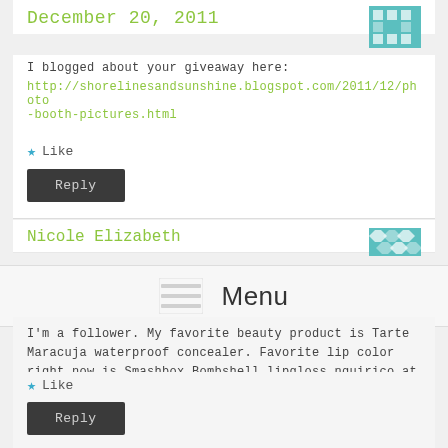December 20, 2011
I blogged about your giveaway here:
http://shorelinesan dsunshine.blogspot.com/2011/12/photo-booth-pictures.html
★ Like
Reply
Nicole Elizabeth
Menu
I'm a follower. My favorite beauty product is Tarte Maracuja waterproof concealer. Favorite lip color right now is Smashbox Bombshell lipgloss.nquirico at hotmail dot com
★ Like
Reply